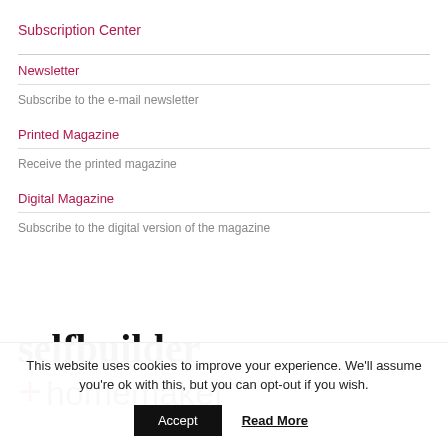Subscription Center
Newsletter
Subscribe to the e-mail newsletter
Printed Magazine
Receive the printed magazine
Digital Magazine
Subscribe to the digital version of the magazine
[Figure (logo): selfbuilder +homemaker logo in black serif font with a pink/red plus sign]
This website uses cookies to improve your experience. We'll assume you're ok with this, but you can opt-out if you wish.
Accept   Read More